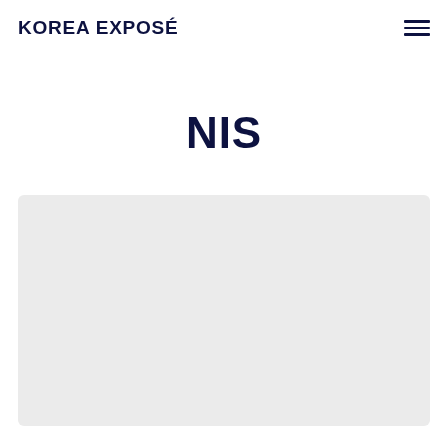KOREA EXPOSÉ
NIS
[Figure (photo): Large light grey placeholder image area for NIS article content]